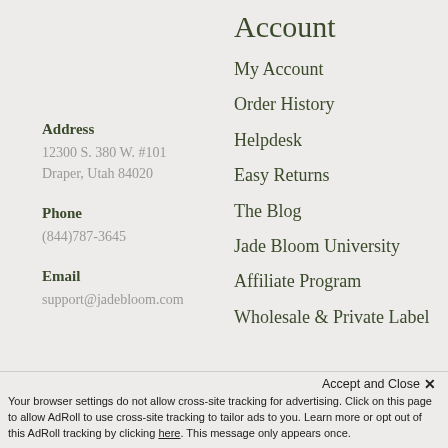Account
Address
12300 S. 380 W. #101
Draper, Utah 84020
Phone
(844)787-3645
Email
support@jadebloom.com
My Account
Order History
Helpdesk
Easy Returns
The Blog
Jade Bloom University
Affiliate Program
Wholesale & Private Label
Batch & Lo...
Accept and Close ✕
Your browser settings do not allow cross-site tracking for advertising. Click on this page to allow AdRoll to use cross-site tracking to tailor ads to you. Learn more or opt out of this AdRoll tracking by clicking here. This message only appears once.